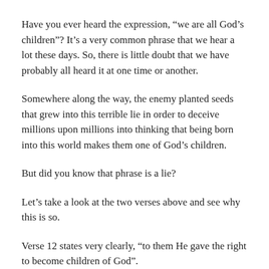Have you ever heard the expression, “we are all God’s children”? It’s a very common phrase that we hear a lot these days. So, there is little doubt that we have probably all heard it at one time or another.
Somewhere along the way, the enemy planted seeds that grew into this terrible lie in order to deceive millions upon millions into thinking that being born into this world makes them one of God’s children.
But did you know that phrase is a lie?
Let’s take a look at the two verses above and see why this is so.
Verse 12 states very clearly, “to them He gave the right to become children of God”.